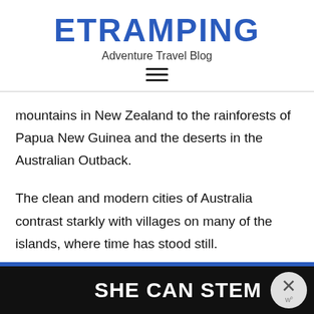ETRAMPING
Adventure Travel Blog
mountains in New Zealand to the rainforests of Papua New Guinea and the deserts in the Australian Outback.
The clean and modern cities of Australia contrast starkly with villages on many of the islands, where time has stood still.
Much of the wildlife in these lands is unlike any that you
[Figure (screenshot): Advertisement banner reading 'SHE CAN STEM' with a close button on the right side]